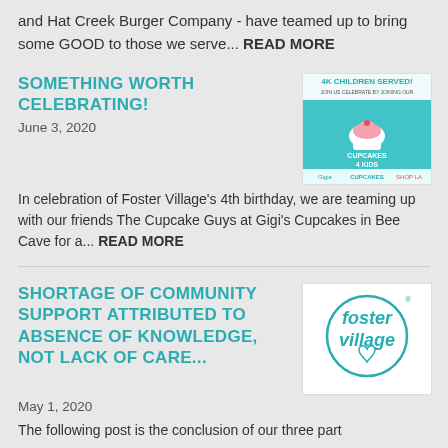and Hat Creek Burger Company - have teamed up to bring some GOOD to those we serve... READ MORE
SOMETHING WORTH CELEBRATING!
June 3, 2020
[Figure (illustration): Cupcakes 4 Kids event image with text '4K CHILDREN SERVED! Join us celebrate by joining our' and logos for Gigi's Cupcakes and other organizations]
In celebration of Foster Village's 4th birthday, we are teaming up with our friends The Cupcake Guys at Gigi's Cupcakes in Bee Cave for a... READ MORE
SHORTAGE OF COMMUNITY SUPPORT ATTRIBUTED TO ABSENCE OF KNOWLEDGE, NOT LACK OF CARE...
[Figure (logo): Foster Village logo - circular text reading 'Foster Village' with a heart]
May 1, 2020
The following post is the conclusion of our three part